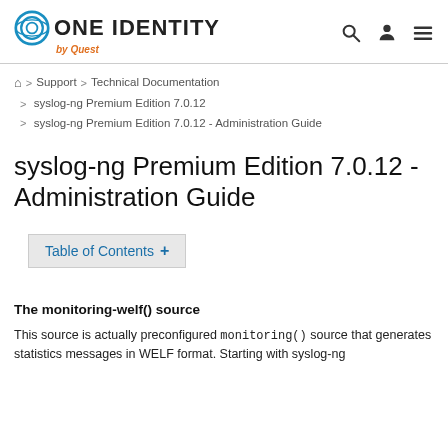[Figure (logo): One Identity by Quest logo with circular icon and text, plus search, user, and menu icons on the right]
🏠 > Support > Technical Documentation > syslog-ng Premium Edition 7.0.12 > syslog-ng Premium Edition 7.0.12 - Administration Guide
syslog-ng Premium Edition 7.0.12 - Administration Guide
Table of Contents +
The monitoring-welf() source
This source is actually preconfigured monitoring() source that generates statistics messages in WELF format. Starting with syslog-ng